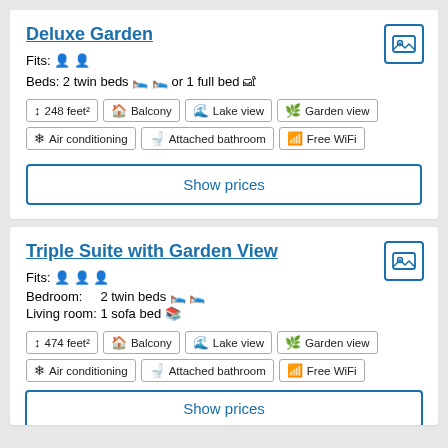Deluxe Garden
Fits: 2 persons
Beds: 2 twin beds or 1 full bed
248 feet²
Balcony
Lake view
Garden view
Air conditioning
Attached bathroom
Free WiFi
Show prices
Triple Suite with Garden View
Fits: 3 persons
Bedroom: 2 twin beds
Living room: 1 sofa bed
474 feet²
Balcony
Lake view
Garden view
Air conditioning
Attached bathroom
Free WiFi
Show prices